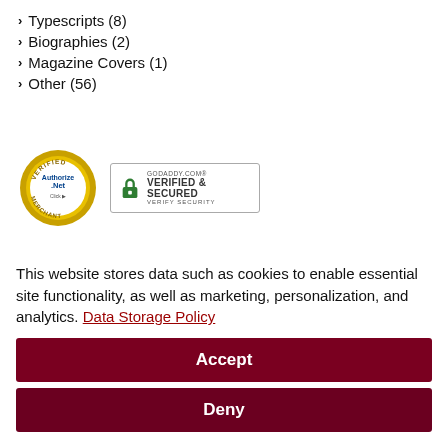Typescripts (8)
Biographies (2)
Magazine Covers (1)
Other (56)
[Figure (logo): Authorize.Net Verified Merchant badge and GoDaddy.com Verified & Secured badge]
[Figure (other): World Wide Shipping banner with truck icon]
This website stores data such as cookies to enable essential site functionality, as well as marketing, personalization, and analytics. Data Storage Policy
Accept
Deny